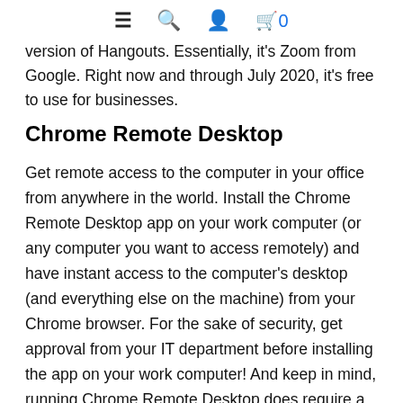≡ 🔍 👤 🛒 0
version of Hangouts. Essentially, it's Zoom from Google. Right now and through July 2020, it's free to use for businesses.
Chrome Remote Desktop
Get remote access to the computer in your office from anywhere in the world. Install the Chrome Remote Desktop app on your work computer (or any computer you want to access remotely) and have instant access to the computer's desktop (and everything else on the machine) from your Chrome browser. For the sake of security, get approval from your IT department before installing the app on your work computer! And keep in mind, running Chrome Remote Desktop does require a